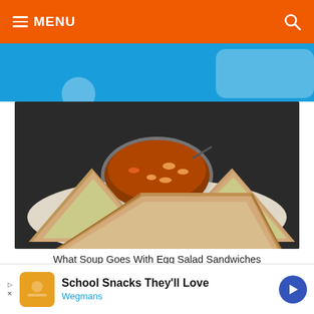MENU
[Figure (photo): Ad banner with blue background and rounded shapes]
[Figure (photo): Egg salad sandwiches cut in triangles on a plate with a bowl of tomato soup with beans in the center, on a dark background]
What Soup Goes With Egg Salad Sandwiches
[Figure (screenshot): Load AD button in orange and a pink button on the right]
[Figure (screenshot): Bottom advertisement bar: School Snacks They'll Love - Wegmans]